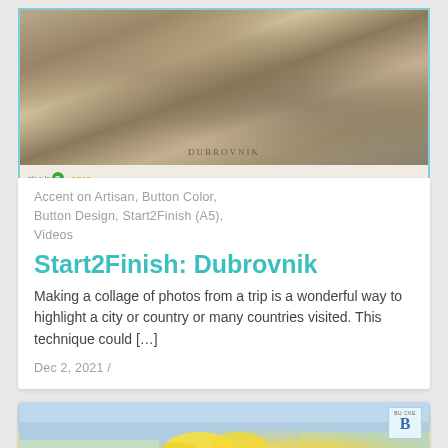[Figure (photo): Sepia-toned collage photo of Dubrovnik with 'pixels2pages' logo and copyright notice at bottom]
Accent on Artisan, Button Color, Button Design, Start2Finish (A5), Videos
Start2Finish: Dubrovnik
Making a collage of photos from a trip is a wonderful way to highlight a city or country or many countries visited. This technique could […]
Dec 2, 2021 /
[Figure (photo): Partial view of a second blog post card showing a colorful image with yellow flowers and a badge with letter B]